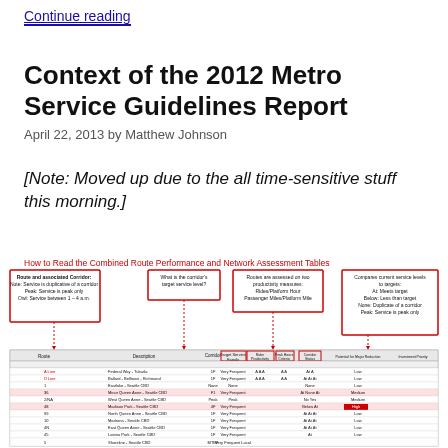Continue reading
Context of the 2012 Metro Service Guidelines Report
April 22, 2013 by Matthew Johnson
[Note: Moved up due to the all time-sensitive stuff this morning.]
How to Read the Combined Route Performance and Network Assessment Tables
[Figure (infographic): Annotated table infographic showing how to read the Combined Route Performance and Network Assessment Tables, with red callout boxes pointing to columns explaining: Route and associated Corridor, What is the corridor's target service level, Routes are assessed on two productivity measures (Rides/Platform Hour, Passenger Miles/Platform Mile), and Compares current service levels to targets. Below the callouts is a partial data table with multiple route rows.]